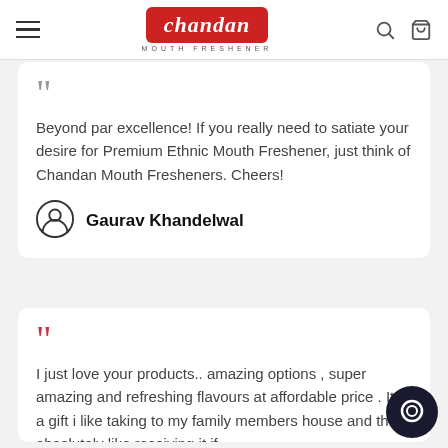Chandan Mouth Freshener — navigation header with hamburger menu, logo, search and bag icons
Beyond par excellence! If you really need to satiate your desire for Premium Ethnic Mouth Freshener, just think of Chandan Mouth Fresheners. Cheers!
Gaurav Khandelwal
I just love your products.. amazing options , super amazing and refreshing flavours at affordable price . Its a gift i like taking to my family members house and they absolutely like receiving it if